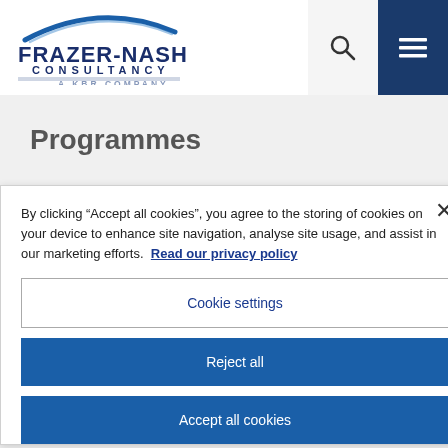[Figure (logo): Frazer-Nash Consultancy – A KBR Company logo with blue arc swoosh above the text]
Programmes
By clicking “Accept all cookies”, you agree to the storing of cookies on your device to enhance site navigation, analyse site usage, and assist in our marketing efforts.  Read our privacy policy
Cookie settings
Reject all
Accept all cookies